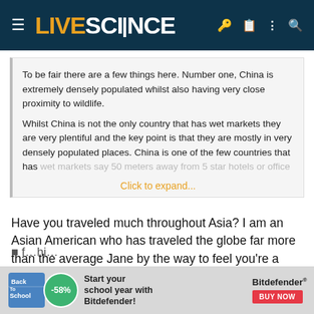LIVESCIENCE
To be fair there are a few things here. Number one, China is extremely densely populated whilst also having very close proximity to wildlife.
Whilst China is not the only country that has wet markets they are very plentiful and the key point is that they are mostly in very densely populated places. China is one of the few countries that has wet markets say 50 meters away from 5 star hotels or office
Click to expand...
Have you traveled much throughout Asia? I am an Asian American who has traveled the globe far more than the average Jane by the way to feel you're a nice apologist for the CCP.
[Figure (infographic): Back to School advertisement banner for Bitdefender with -58% discount offer and Buy Now button]